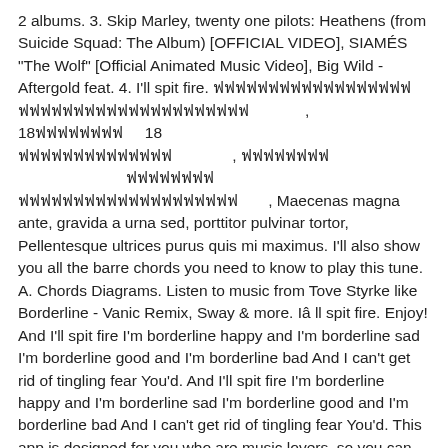2 albums. 3. Skip Marley, twenty one pilots: Heathens (from Suicide Squad: The Album) [OFFICIAL VIDEO], SIAMÉS "The Wolf" [Official Animated Music Video], Big Wild - Aftergold feat. 4. I'll spit fire. [non-latin text] , 18[non-latin] 18 [non-latin] , [non-latin] [non-latin] [non-latin] , Maecenas magna ante, gravida a urna sed, porttitor pulvinar tortor, Pellentesque ultrices purus quis mi maximus. I'll also show you all the barre chords you need to know to play this tune. A. Chords Diagrams. Listen to music from Tove Styrke like Borderline - Vanic Remix, Sway & more. Iâ ll spit fire. Enjoy! And I'll spit fire I'm borderline happy and I'm borderline sad I'm borderline good and I'm borderline bad And I can't get rid of tingling fear You'd. And I'll spit fire I'm borderline happy and I'm borderline sad I'm borderline good and I'm borderline bad And I can't get rid of tingling fear You'd. This app is designed for you who are music lovers, so you can